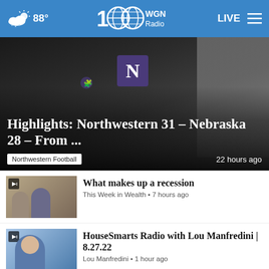88° WGN Radio 100 LIVE
[Figure (photo): Hero image of a person wearing a Northwestern University athletic jacket with purple N logo, overlaid with the headline about Northwestern vs Nebraska football highlights]
Highlights: Northwestern 31 – Nebraska 28 – From ...
Northwestern Football  22 hours ago
[Figure (photo): Thumbnail image with audio icon for What makes up a recession article, showing two people]
What makes up a recession
This Week in Wealth • 7 hours ago
[Figure (photo): Thumbnail image with audio icon for HouseSmarts Radio with Lou Manfredini article, showing Lou Manfredini smiling]
HouseSmarts Radio with Lou Manfredini | 8.27.22
Lou Manfredini • 1 hour ago
[Figure (photo): Thumbnail image with audio icon for Home Sweet Home Chicago article]
Home Sweet Home Chicago (08/27/22) – David Hochberg ...